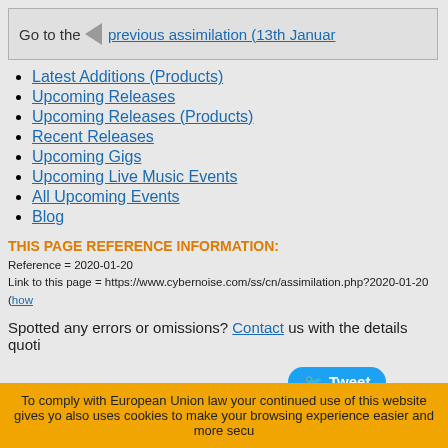Go to the previous assimilation (13th Januar
Latest Additions (Products)
Upcoming Releases
Upcoming Releases (Products)
Recent Releases
Upcoming Gigs
Upcoming Live Music Events
All Upcoming Events
Blog
THIS PAGE REFERENCE INFORMATION:
Reference = 2020-01-20
Link to this page = https://www.cybernoise.com/ss/cn/assimilation.php?2020-01-20 (how
Spotted any errors or omissions? Contact us with the details quoti
Tweet
To comply with European Union law your continued use of this website gives yo also uses cookies to make your browsing experience easier and more secu